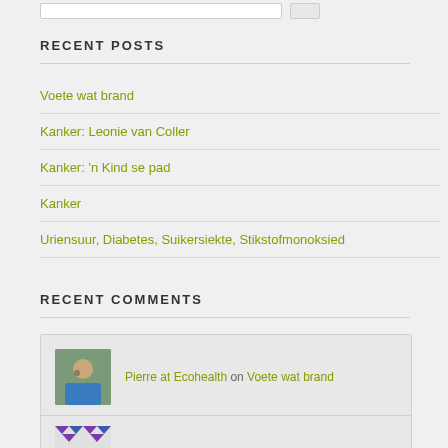RECENT POSTS
Voete wat brand
Kanker: Leonie van Coller
Kanker: 'n Kind se pad
Kanker
Uriensuur, Diabetes, Suikersiekte, Stikstofmonoksied
RECENT COMMENTS
Pierre at Ecohealth on Voete wat brand